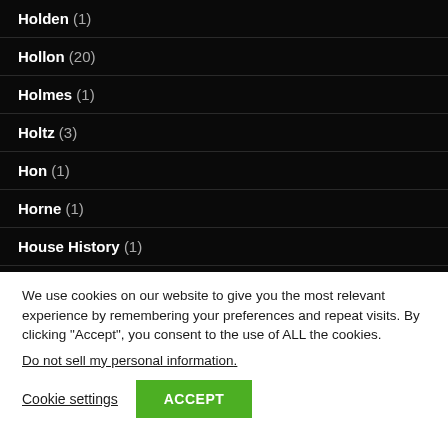Holden (1)
Hollon (20)
Holmes (1)
Holtz (3)
Hon (1)
Horne (1)
House History (1)
We use cookies on our website to give you the most relevant experience by remembering your preferences and repeat visits. By clicking “Accept”, you consent to the use of ALL the cookies.
Do not sell my personal information.
Cookie settings  ACCEPT